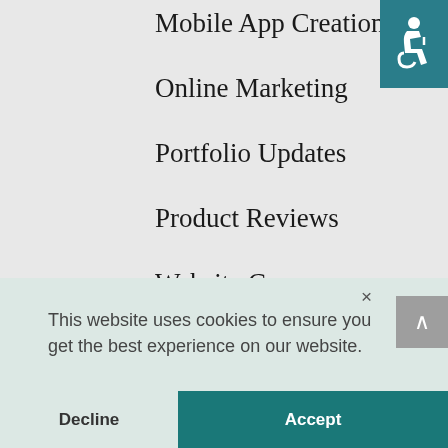Mobile App Creation
Online Marketing
Portfolio Updates
Product Reviews
Website Care
Website Creation
What's New
[Figure (other): Accessibility icon — white wheelchair symbol on teal background]
This website uses cookies to ensure you get the best experience on our website.
Decline
Accept